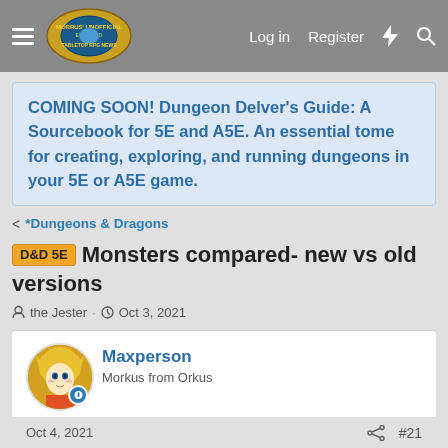Morrus' Unofficial Tabletop RPG News — Log in  Register
COMING SOON! Dungeon Delver's Guide: A Sourcebook for 5E and A5E. An essential tome for creating, exploring, and running dungeons in your 5E or A5E game.
< *Dungeons & Dragons
D&D 5E  Monsters compared- new vs old versions
the Jester · Oct 3, 2021
Maxperson
Morkus from Orkus
Oct 4, 2021   #21